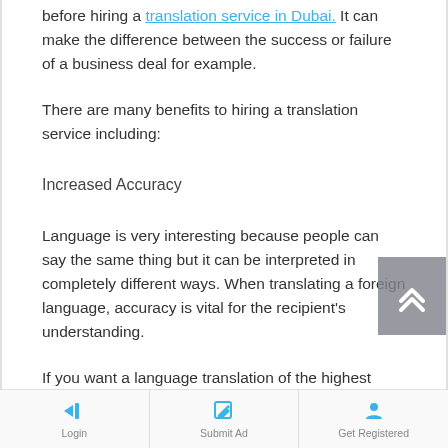before hiring a translation service in Dubai. It can make the difference between the success or failure of a business deal for example.
There are many benefits to hiring a translation service including:
Increased Accuracy
Language is very interesting because people can say the same thing but it can be interpreted in completely different ways. When translating a foreign language, accuracy is vital for the recipient's understanding.
If you want a language translation of the highest
[Figure (other): Bottom navigation bar with Login, Submit Ad, and Get Registered icons]